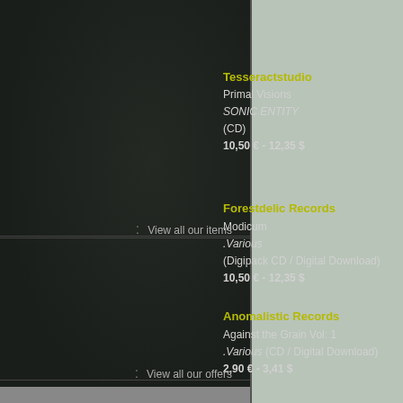Tesseractstudio
Primal Visions
SONIC ENTITY
(CD)
10,50 € - 12,35 $
Forestdelic Records
Modicum
.Various
(Digipack CD / Digital Download)
10,50 € - 12,35 $
View all our items
Anomalistic Records
Against the Grain Vol: 1
.Various (CD / Digital Download)
2,90 € - 3,41 $
View all our offers